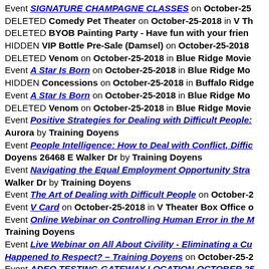Event SIGNATURE CHAMPAGNE CLASSES on October-25
DELETED Comedy Pet Theater on October-25-2018 in V Th
DELETED BYOB Painting Party - Have fun with your frien
HIDDEN VIP Bottle Pre-Sale (Damsel) on October-25-2018
DELETED Venom on October-25-2018 in Blue Ridge Movie
Event A Star Is Born on October-25-2018 in Blue Ridge Mo
HIDDEN Concessions on October-25-2018 in Buffalo Ridge
Event A Star Is Born on October-25-2018 in Blue Ridge Mo
DELETED Venom on October-25-2018 in Blue Ridge Movie
Event Positive Strategies for Dealing with Difficult People: Aurora by Training Doyens
Event People Intelligence: How to Deal with Conflict, Diffic Doyens 26468 E Walker Dr by Training Doyens
Event Navigating the Equal Employment Opportunity Stra Walker Dr by Training Doyens
Event The Art of Dealing with Difficult People on October-2
Event V Card on October-25-2018 in V Theater Box Office o
Event Online Webinar on Controlling Human Error in the M Training Doyens
Event Live Webinar on All About Civility - Eliminating a Cu Happened to Respect? - Training Doyens on October-25-2
Event ADEQ TESTING-GATEWAY LOCATION-OCTOBER 25 CC
Event Next Generation Leadership: Identifying & Developi Training Doyens